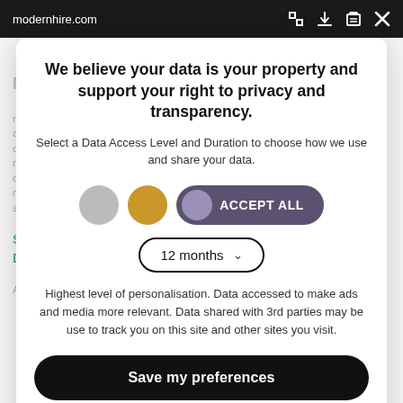modernhire.com
We believe your data is your property and support your right to privacy and transparency.
Select a Data Access Level and Duration to choose how we use and share your data.
[Figure (other): Three circles (gray, gold, purple) with an ACCEPT ALL button, and a 12 months dropdown selector]
Highest level of personalisation. Data accessed to make ads and media more relevant. Data shared with 3rd parties may be use to track you on this site and other sites you visit.
Save my preferences
Customize   Privacy policy | Do Not Sell